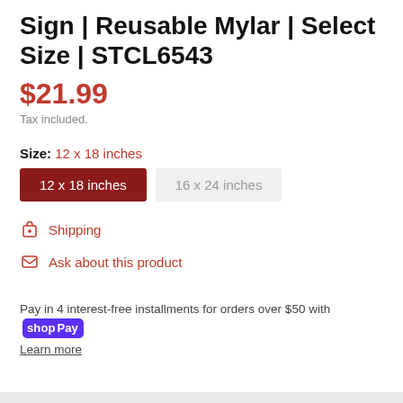Sign | Reusable Mylar | Select Size | STCL6543
$21.99
Tax included.
Size: 12 x 18 inches
12 x 18 inches (selected), 16 x 24 inches
Shipping
Ask about this product
Pay in 4 interest-free installments for orders over $50 with shop Pay
Learn more